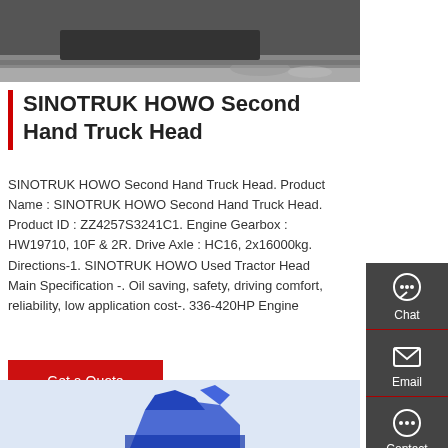[Figure (photo): Top portion of a truck undercarriage photo, dark background with road surface]
SINOTRUK HOWO Second Hand Truck Head
SINOTRUK HOWO Second Hand Truck Head. Product Name : SINOTRUK HOWO Second Hand Truck Head. Product ID : ZZ4257S3241C1. Engine Gearbox : HW19710, 10F & 2R. Drive Axle : HC16, 2x16000kg. Directions-1. SINOTRUK HOWO Used Tractor Head Main Specification -. Oil saving, safety, driving comfort, reliability, low application cost-. 336-420HP Engine
[Figure (screenshot): Get a Quote red button]
[Figure (infographic): Right sidebar with Chat, Email, Contact, Top icons on dark gray background]
[Figure (photo): Bottom portion showing blue truck machinery on light blue background]